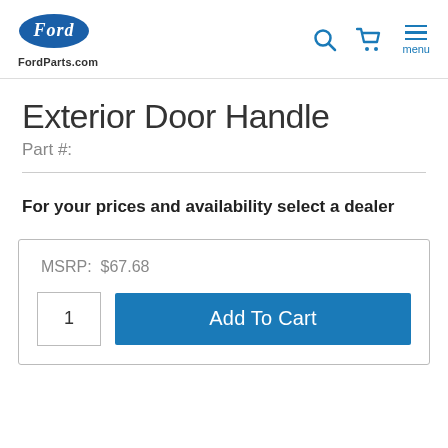FordParts.com
Exterior Door Handle
Part #:
For your prices and availability select a dealer
MSRP: $67.68
1
Add To Cart